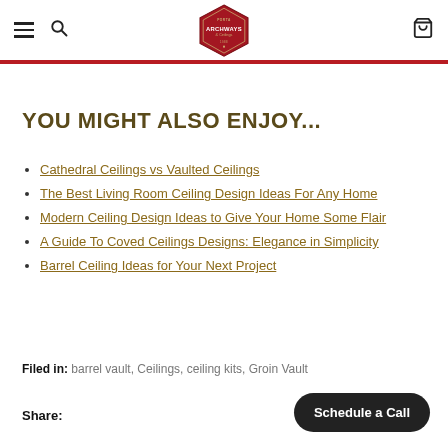Archways & Ceilings [navigation header with hamburger menu, search, logo, and cart]
YOU MIGHT ALSO ENJOY...
Cathedral Ceilings vs Vaulted Ceilings
The Best Living Room Ceiling Design Ideas For Any Home
Modern Ceiling Design Ideas to Give Your Home Some Flair
A Guide To Coved Ceilings Designs: Elegance in Simplicity
Barrel Ceiling Ideas for Your Next Project
Filed in:  barrel vault,  Ceilings,  ceiling kits,  Groin Vault
Share:
Schedule a Call